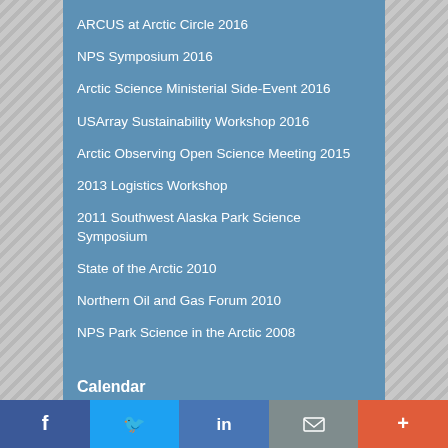ARCUS at Arctic Circle 2016
NPS Symposium 2016
Arctic Science Ministerial Side-Event 2016
USArray Sustainability Workshop 2016
Arctic Observing Open Science Meeting 2015
2013 Logistics Workshop
2011 Southwest Alaska Park Science Symposium
State of the Arctic 2010
Northern Oil and Gas Forum 2010
NPS Park Science in the Arctic 2008
Calendar
[Figure (other): Social media sharing bar with Facebook, Twitter, LinkedIn, Email, and More buttons]